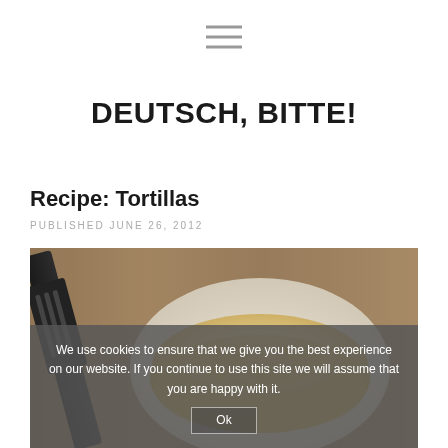≡ (hamburger menu icon)
DEUTSCH, BITTE!
Recipe: Tortillas
PUBLISHED JUNE 26, 2012
[Figure (photo): Photo of a stack of tortillas on a white plate with a black spatula on a wooden surface]
We use cookies to ensure that we give you the best experience on our website. If you continue to use this site we will assume that you are happy with it. Ok